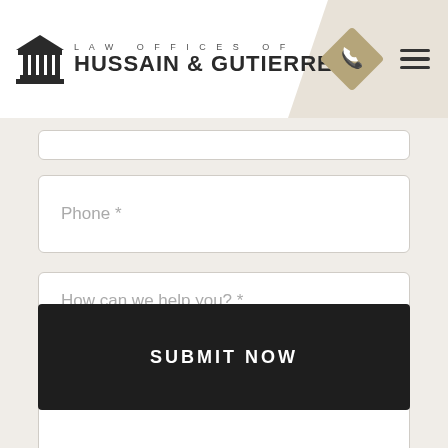LAW OFFICES OF HUSSAIN & GUTIERREZ
Phone *
How can we help you? *
SUBMIT NOW